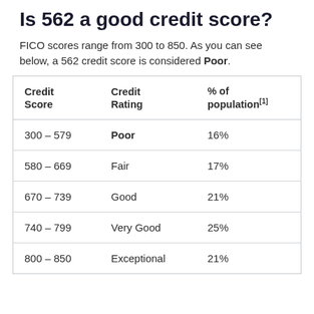Is 562 a good credit score?
FICO scores range from 300 to 850. As you can see below, a 562 credit score is considered Poor.
| Credit Score | Credit Rating | % of population[1] |
| --- | --- | --- |
| 300 – 579 | Poor | 16% |
| 580 – 669 | Fair | 17% |
| 670 – 739 | Good | 21% |
| 740 – 799 | Very Good | 25% |
| 800 – 850 | Exceptional | 21% |